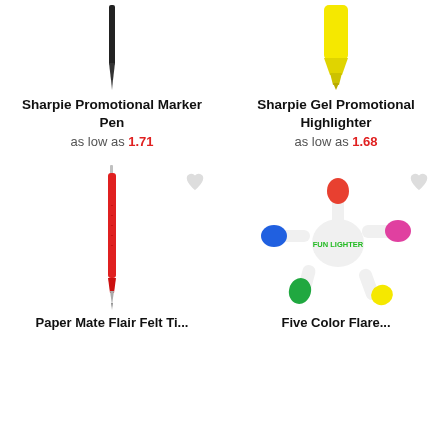[Figure (photo): Sharpie black marker pen tip pointing downward (cropped top)]
[Figure (photo): Sharpie yellow gel highlighter tip pointing downward (cropped top)]
Sharpie Promotional Marker Pen
as low as 1.71
Sharpie Gel Promotional Highlighter
as low as 1.68
[Figure (photo): Red Paper Mate flair felt tip pen, full length, vertical]
[Figure (photo): Five Color Fun Lighter star-shaped multi-color highlighter with red, blue, pink, green, and yellow tips labeled FUN LIGHTER]
Paper Mate Flair Felt Ti...
Five Color Flare...